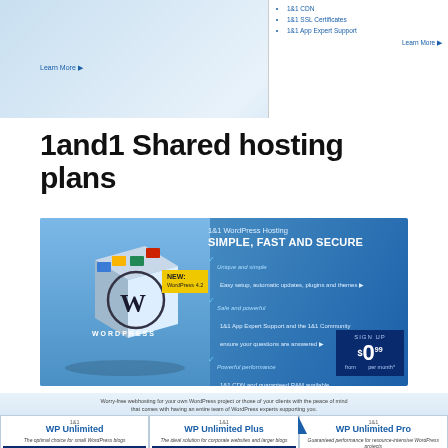[Figure (screenshot): Top partial banner showing 1&1 hosting product page with bullet points (1&1 CDN, 1&1 SSL Certificates, 1&1 App Expert Support) and Learn More buttons]
1and1 Shared hosting plans
[Figure (screenshot): 1&1 WordPress Hosting banner: SIMPLE, FAST AND SECURE. NEW: WordPress 4.2. Features: Unique and simple - Easy setup, automatic updates, plugins and themes. Safe and powerful - 1&1 App Expert Support and the 1&1 Community ensure your questions are answered. Powerful performance - 1&1 CDN and guaranteed RAM available for increased performance. SIGN UP from $0.99 per month.]
[Figure (screenshot): 1&1 WordPress shared hosting plan cards showing WP Unlimited, WP Unlimited Plus, WP Unlimited Pro with 12-month pricing ($0.99, $4.99, $9.99)]